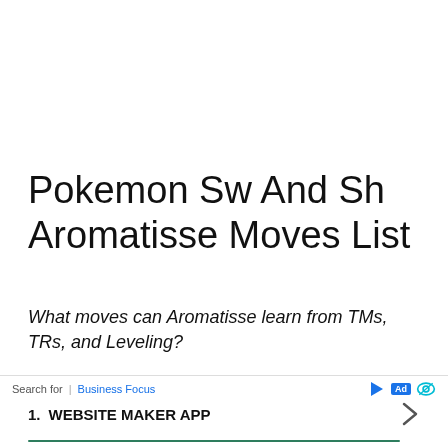Pokemon Sw And Sh Aromatisse Moves List
What moves can Aromatisse learn from TMs, TRs, and Leveling?
Aromatisse can learn the normal type move Psych Up at level 42. This Status move Copies the opponent's stat
Search for | Business Focus  [Ad]  1. WEBSITE MAKER APP